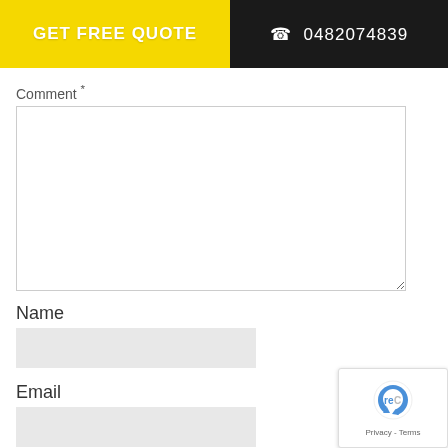GET FREE QUOTE  ☎ 0482074839
Comment *
Name
Email
Website